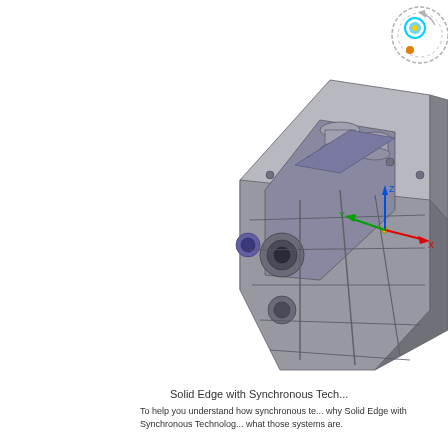[Figure (engineering-diagram): 3D CAD model of a mechanical gearbox/housing component shown in isometric view with coordinate axes (X red, Y green, Z blue) displayed. The part is rendered in gray with visible internal cavities, cylindrical bores, and mechanical features. A circular motion indicator with colored target is visible at the top right.]
Solid Edge with Synchronous Tech...
To help you understand how synchronous te... why Solid Edge with Synchronous Technolog... what those systems are.
Time for Something New! Until synchronous technology you had two m... parametric modelers such as Solid Edge, Pr... modeling has been around more than 20 yea... Second is history-free or explicit modeling sy...
History-based systems use a feature-base a... dimension-driven, so automating model cha... predictability requires forethought and planni... outside the planned modification results in a...